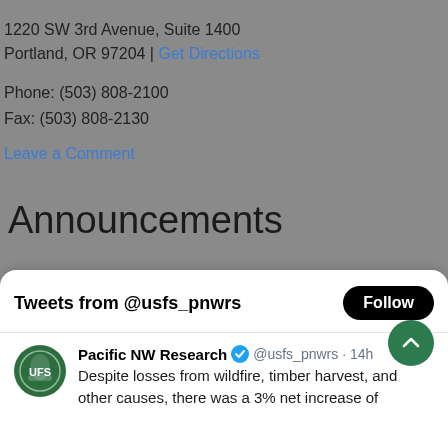1220 SW 3rd Avenue, Suite 1400
Portland, OR 97204 | Get Directions
Phone: (503) 808-2100
Fax: (503) 808-2130
Leave a Comment
Announcements
Tweets from @usfs_pnwrs
Pacific NW Research @usfs_pnwrs · 14h
Despite losses from wildfire, timber harvest, and other causes, there was a 3% net increase of